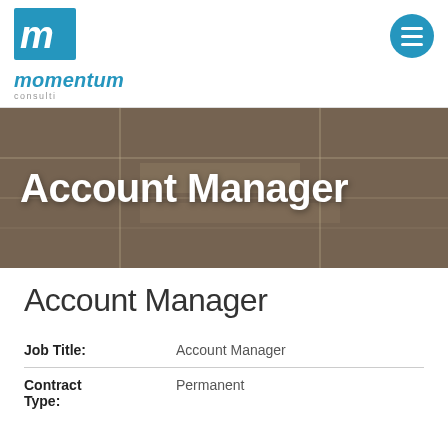momentum consulting
[Figure (logo): Momentum Consulting logo with blue square icon containing white italic 'm' and blue italic text 'momentum' below]
Account Manager
Account Manager
| Job Title: | Account Manager |
| Contract Type: | Permanent |